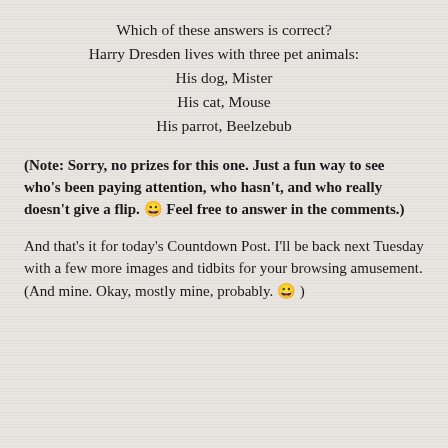Which of these answers is correct?
Harry Dresden lives with three pet animals:
His dog, Mister
His cat, Mouse
His parrot, Beelzebub
(Note: Sorry, no prizes for this one. Just a fun way to see who's been paying attention, who hasn't, and who really doesn't give a flip. 😀 Feel free to answer in the comments.)
And that's it for today's Countdown Post. I'll be back next Tuesday with a few more images and tidbits for your browsing amusement. (And mine. Okay, mostly mine, probably. 😀 )